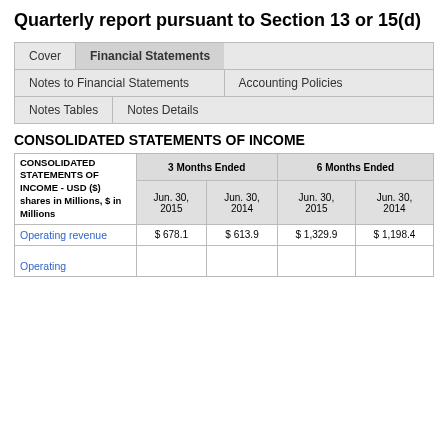Quarterly report pursuant to Section 13 or 15(d)
| Cover | Financial Statements | Notes to Financial Statements | Accounting Policies | Notes Tables | Notes Details |
| --- | --- | --- | --- | --- | --- |
CONSOLIDATED STATEMENTS OF INCOME
| CONSOLIDATED STATEMENTS OF INCOME - USD ($) shares in Millions, $ in Millions | 3 Months Ended |  | 6 Months Ended |  |
| --- | --- | --- | --- | --- |
|  | Jun. 30, 2015 | Jun. 30, 2014 | Jun. 30, 2015 | Jun. 30, 2014 |
| Operating revenue | $ 678.1 | $ 613.9 | $ 1,329.9 | $ 1,198.4 |
| Operating |  |  |  |  |